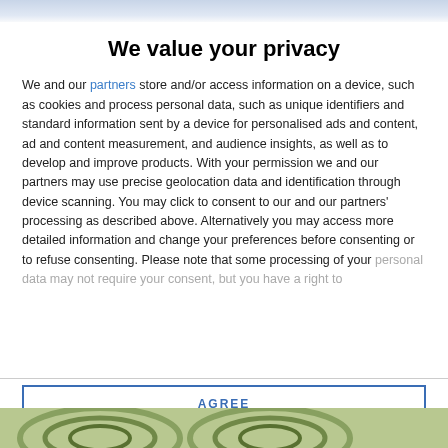We value your privacy
We and our partners store and/or access information on a device, such as cookies and process personal data, such as unique identifiers and standard information sent by a device for personalised ads and content, ad and content measurement, and audience insights, as well as to develop and improve products. With your permission we and our partners may use precise geolocation data and identification through device scanning. You may click to consent to our and our partners' processing as described above. Alternatively you may access more detailed information and change your preferences before consenting or to refuse consenting. Please note that some processing of your personal data may not require your consent, but you have a right to
AGREE
MORE OPTIONS
[Figure (photo): Background image of a decorative circular pattern partially visible at the bottom of the page]